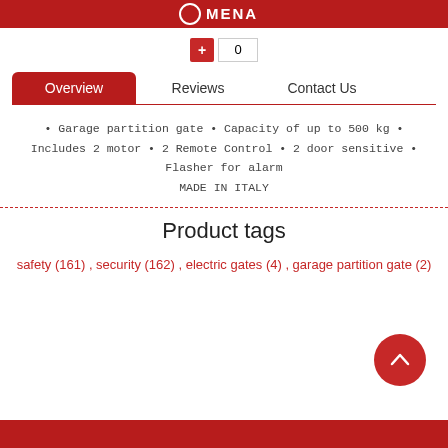+ 0
Overview  Reviews  Contact Us
Garage partition gate • Capacity of up to 500 kg • Includes 2 motor • 2 Remote Control • 2 door sensitive • Flasher for alarm
MADE IN ITALY
Product tags
safety (161) , security (162) , electric gates (4) , garage partition gate (2)